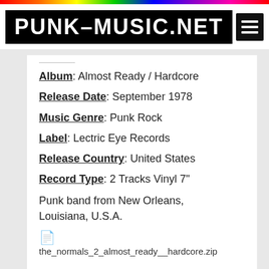PUNK-MUSIC.NET
Album: Almost Ready / Hardcore
Release Date: September 1978
Music Genre: Punk Rock
Label: Lectric Eye Records
Release Country: United States
Record Type: 2 Tracks Vinyl 7"
Punk band from New Orleans, Louisiana, U.S.A.
the_normals_2_almost_ready__hardcore.zip